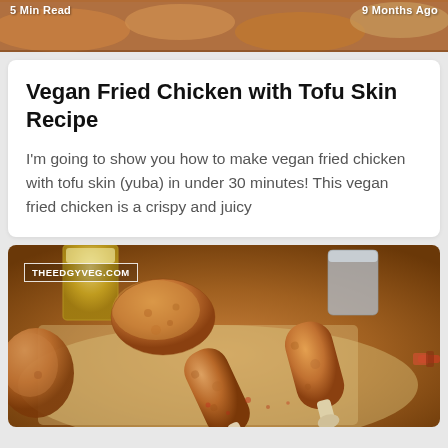5 Min Read   9 Months Ago
Vegan Fried Chicken with Tofu Skin Recipe
I'm going to show you how to make vegan fried chicken with tofu skin (yuba) in under 30 minutes! This vegan fried chicken is a crispy and juicy
[Figure (photo): Photo of vegan fried chicken pieces made from tofu skin, arranged on parchment paper with a glass of beer and metal cup in background. Watermark reads THEEDGYVEG.COM]